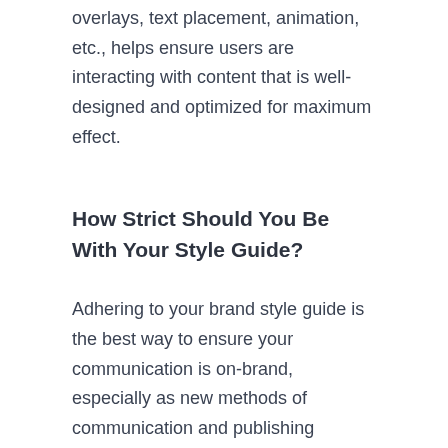overlays, text placement, animation, etc., helps ensure users are interacting with content that is well-designed and optimized for maximum effect.
How Strict Should You Be With Your Style Guide?
Adhering to your brand style guide is the best way to ensure your communication is on-brand, especially as new methods of communication and publishing platforms are adopt. However, as you have these conversations, also consider how strictly the guide should be followed at different